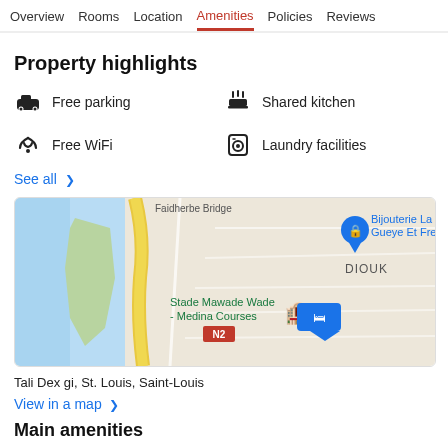Overview  Rooms  Location  Amenities  Policies  Reviews
Property highlights
Free parking
Shared kitchen
Free WiFi
Laundry facilities
See all >
[Figure (map): Google Maps showing location near Stade Mawade Wade - Medina Courses, Bijouterie La Solution Gueye Et Freres, DIOUK area in Saint-Louis, Senegal. Road N2 visible. Hotel marker shown.]
Tali Dex gi, St. Louis, Saint-Louis
View in a map >
Main amenities